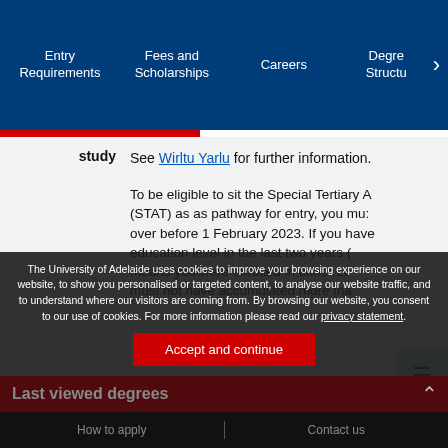Entry Requirements | Fees and Scholarships | Careers | Degree Structure
study  See Wirltu Yarlu for further information.
To be eligible to sit the Special Tertiary Admissions Test (STAT) as as pathway for entry, you must be 21 or over before 1 February 2023. If you have studied at a post-secondary education level in the last two years (for 2023 entry, this means you were enrolled in either 2021 or 2022) you must not have accumulated more than 1 year's full-time (or part-time equivalent) of post-secondary study (to including any study that meets this criteria, you will be ranked according to ...
Work and life
The University of Adelaide uses cookies to improve your browsing experience on our website, to show you personalised or targeted content, to analyse our website traffic, and to understand where our visitors are coming from. By browsing our website, you consent to our use of cookies. For more information please read our privacy statement.
Accept and continue
Last viewed degrees
How to apply   Contact us